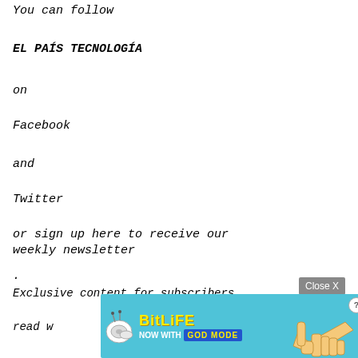You can follow
EL PAÍS TECNOLOGÍA
on
Facebook
and
Twitter
or sign up here to receive our weekly newsletter
.
Exclusive content for subscribers
read w
[Figure (screenshot): BitLife advertisement banner with 'NOW WITH GOD MODE' text, snail icon, pointing hand illustration, help and close icons, on a light blue background]